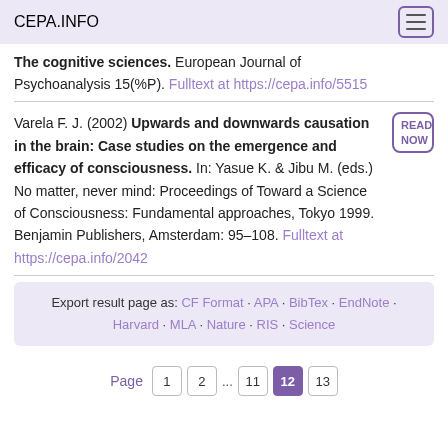CEPA.INFO
The cognitive sciences. European Journal of Psychoanalysis 15(%P). Fulltext at https://cepa.info/5515
Varela F. J. (2002) Upwards and downwards causation in the brain: Case studies on the emergence and efficacy of consciousness. In: Yasue K. & Jibu M. (eds.) No matter, never mind: Proceedings of Toward a Science of Consciousness: Fundamental approaches, Tokyo 1999. Benjamin Publishers, Amsterdam: 95–108. Fulltext at https://cepa.info/2042
Export result page as: CF Format · APA · BibTex · EndNote · Harvard · MLA · Nature · RIS · Science
Page 1 2 ... 11 12 13